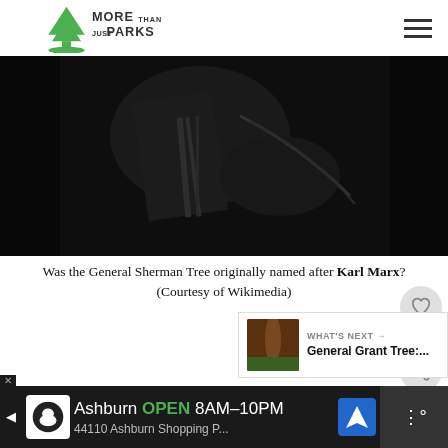More Than Just Parks
[Figure (photo): Black and white historical photograph, possibly a portrait or figure, dark tones]
Was the General Sherman Tree originally named after Karl Marx? (Courtesy of Wikimedia)
5
[Figure (photo): What's Next thumbnail - General Grant Tree]
WHAT'S NEXT → General Grant Tree:...
Ashburn OPEN 8AM–10PM 44110 Ashburn Shopping P...